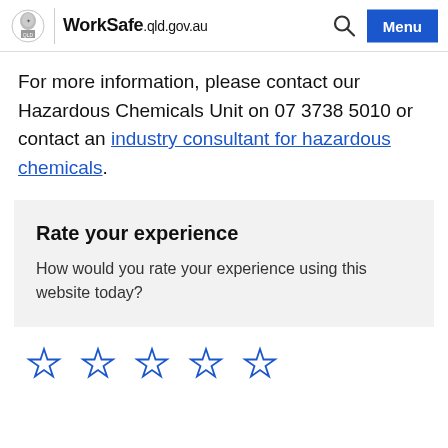WorkSafe.qld.gov.au
For more information, please contact our Hazardous Chemicals Unit on 07 3738 5010 or contact an industry consultant for hazardous chemicals.
Rate your experience
How would you rate your experience using this website today?
[Figure (other): Five empty star rating icons in a row for user feedback]